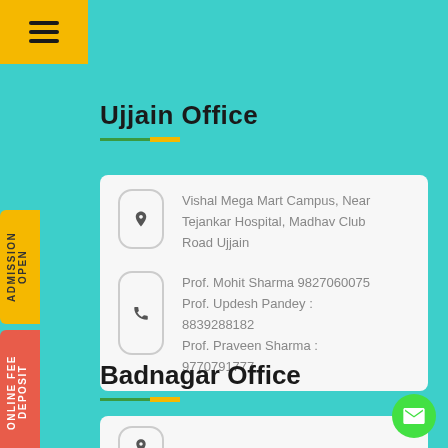Ujjain Office
Vishal Mega Mart Campus, Near Tejankar Hospital, Madhav Club Road Ujjain
Prof. Mohit Sharma 9827060075
Prof. Updesh Pandey : 8839288182
Prof. Praveen Sharma : 9770791777
Badnagar Office